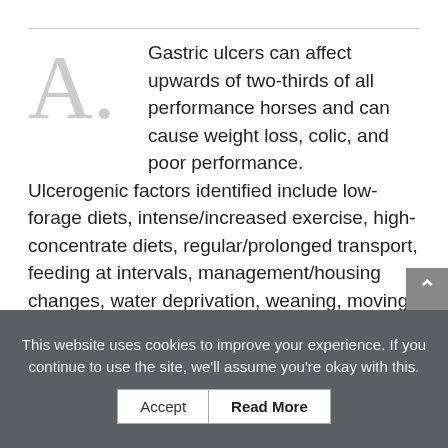Gastric ulcers can affect upwards of two-thirds of all performance horses and can cause weight loss, colic, and poor performance. Ulcerogenic factors identified include low-forage diets, intense/increased exercise, high-concentrate diets, regular/prolonged transport, feeding at intervals, management/housing changes, water deprivation, weaning, moving to a new home, and prolonged stabling. Prevention is therefore key to keeping your horse healthy and at the top of his game. The most effective prevention strategy involves a comprehensive combination of
This website uses cookies to improve your experience. If you continue to use the site, we'll assume you're okay with this.